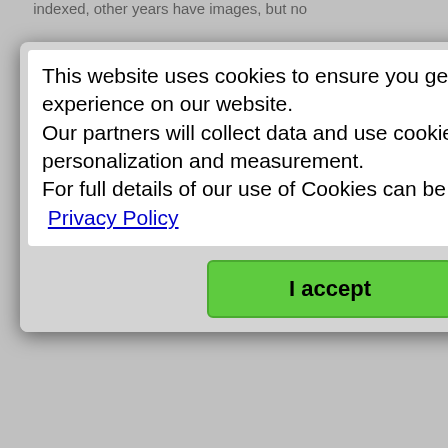indexed, other years have images, but no
This website uses cookies to ensure you get the best experience on our website.
Our partners will collect data and use cookies for ad personalization and measurement.
For full details of our use of Cookies can be found in our Privacy Policy
I accept
nd
ton
on
hat
| Extra Info: | ModIDX in column REQ1. There is one of these for each year indexed, other years have images, but no indexes yet. |
| --- | --- |
| Classification: | Title: | Link: |
| --- | --- | --- |
| Occupations / Trades / Apprentices |  |
| Crew Lists of the British Merchant Navy 1915 |  |
| https://1915crewlists.rmg.co.uk/ |  |
| Classification: |
| --- |
| Commercial / Trade Directories, Prisoner / Trial Conviction / Court Records |